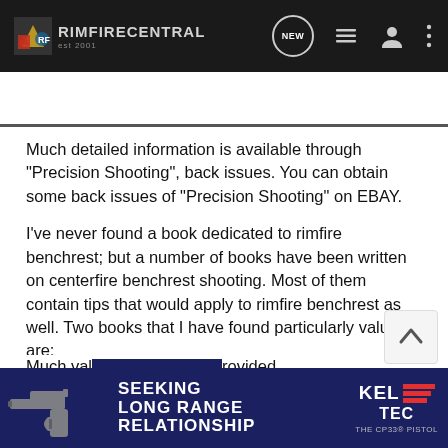RIMFIRECENTRAL
Much detailed information is available through "Precision Shooting", back issues. You can obtain some back issues of "Precision Shooting" on EBAY.
I've never found a book dedicated to rimfire benchrest; but a number of books have been written on centerfire benchrest shooting. Most of them contain tips that would apply to rimfire benchrest as well. Two books that I have found particularly valuable are:
"Extreme Rifle Accuracy" by Mike Ratigan
"The Benchrest Shooting Primer" Edited by Dave Brennen
Much valuable information on rimfire benchrest is provided in "Rifle ... Boelter.
[Figure (advertisement): Kel-Tec CP33 pistol advertisement: SEEKING LONG RANGE RELATIONSHIP, THE CP33 PISTOL, blue background with gun image and Kel-Tec logo with red stripes]